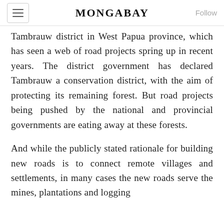MONGABAY
Tambrauw district in West Papua province, which has seen a web of road projects spring up in recent years. The district government has declared Tambrauw a conservation district, with the aim of protecting its remaining forest. But road projects being pushed by the national and provincial governments are eating away at these forests.
And while the publicly stated rationale for building new roads is to connect remote villages and settlements, in many cases the new roads serve the mines, plantations and logging